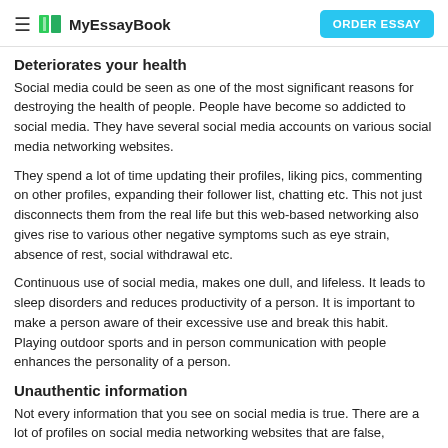MyEssayBook | ORDER ESSAY
Deteriorates your health
Social media could be seen as one of the most significant reasons for destroying the health of people. People have become so addicted to social media. They have several social media accounts on various social media networking websites.
They spend a lot of time updating their profiles, liking pics, commenting on other profiles, expanding their follower list, chatting etc. This not just disconnects them from the real life but this web-based networking also gives rise to various other negative symptoms such as eye strain, absence of rest, social withdrawal etc.
Continuous use of social media, makes one dull, and lifeless. It leads to sleep disorders and reduces productivity of a person. It is important to make a person aware of their excessive use and break this habit. Playing outdoor sports and in person communication with people enhances the personality of a person.
Unauthentic information
Not every information that you see on social media is true. There are a lot of profiles on social media networking websites that are false, disguised and unreal. This can cause a lot of harm to a person